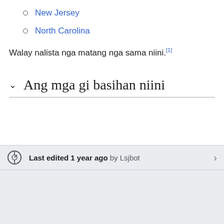New Jersey
North Carolina
Walay nalista nga matang nga sama niini.[1]
Ang mga gi basihan niini
Last edited 1 year ago by Lsjbot